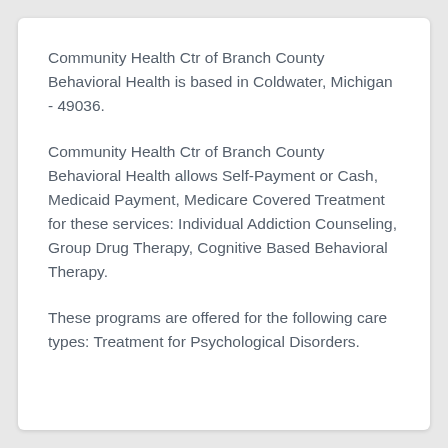Community Health Ctr of Branch County Behavioral Health is based in Coldwater, Michigan - 49036.
Community Health Ctr of Branch County Behavioral Health allows Self-Payment or Cash, Medicaid Payment, Medicare Covered Treatment for these services: Individual Addiction Counseling, Group Drug Therapy, Cognitive Based Behavioral Therapy.
These programs are offered for the following care types: Treatment for Psychological Disorders.